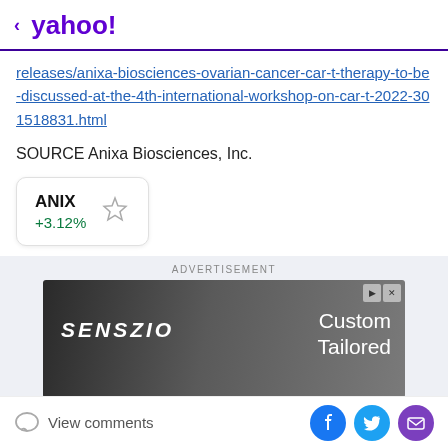< yahoo!
releases/anixa-biosciences-ovarian-cancer-car-t-therapy-to-be-discussed-at-the-4th-international-workshop-on-car-t-2022-301518831.html
SOURCE Anixa Biosciences, Inc.
[Figure (infographic): Stock ticker card for ANIX showing +3.12% change with a star/watchlist icon]
[Figure (screenshot): Advertisement banner for SENSZIO Custom Tailored clothing with a man in a suit]
View comments | Social share buttons: Facebook, Twitter, Email